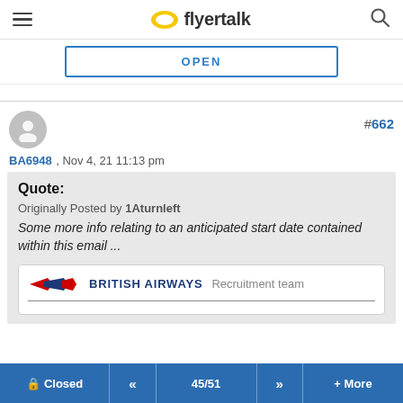flyertalk
[Figure (screenshot): OPEN button - advertisement or app prompt with blue border]
#662
BA6948 , Nov 4, 21 11:13 pm
Quote:
Originally Posted by 1Aturnleft
Some more info relating to an anticipated start date contained within this email ...
[Figure (logo): British Airways logo with red and blue speed arrow/crane design, followed by text: BRITISH AIRWAYS | Recruitment team]
Closed  <<  45/51  >>  + More